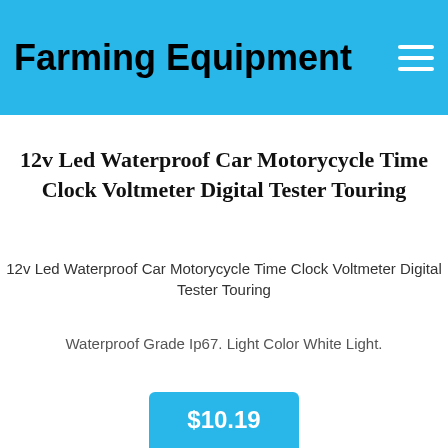Farming Equipment
12v Led Waterproof Car Motorycycle Time Clock Voltmeter Digital Tester Touring
12v Led Waterproof Car Motorycycle Time Clock Voltmeter Digital Tester Touring
Waterproof Grade Ip67. Light Color White Light.
$10.19